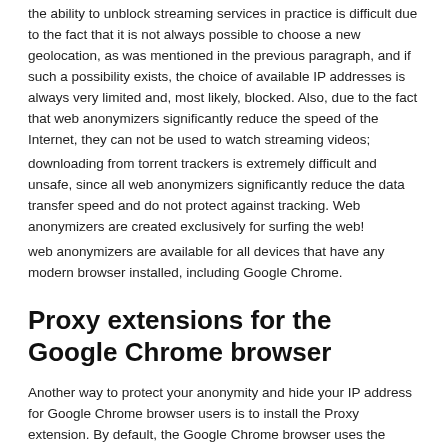the ability to unblock streaming services in practice is difficult due to the fact that it is not always possible to choose a new geolocation, as was mentioned in the previous paragraph, and if such a possibility exists, the choice of available IP addresses is always very limited and, most likely, blocked. Also, due to the fact that web anonymizers significantly reduce the speed of the Internet, they can not be used to watch streaming videos;
downloading from torrent trackers is extremely difficult and unsafe, since all web anonymizers significantly reduce the data transfer speed and do not protect against tracking. Web anonymizers are created exclusively for surfing the web!
web anonymizers are available for all devices that have any modern browser installed, including Google Chrome.
Proxy extensions for the Google Chrome browser
Another way to protect your anonymity and hide your IP address for Google Chrome browser users is to install the Proxy extension. By default, the Google Chrome browser uses the system settings for using a proxy server. Proxy extensions for Chrome make it possible